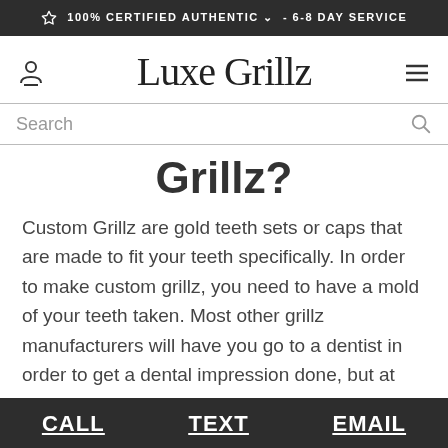🏆 100% CERTIFIED AUTHENTIC ∨ - 6-8 DAY SERVICE
[Figure (logo): Luxe Grillz logo with user icon on left and hamburger menu on right]
Search
Grillz?
Custom Grillz are gold teeth sets or caps that are made to fit your teeth specifically. In order to make custom grillz, you need to have a mold of your teeth taken. Most other grillz manufacturers will have you go to a dentist in order to get a dental impression done, but at Luxe Grillz, we have made the process easy for you by offering
CALL   TEXT   EMAIL